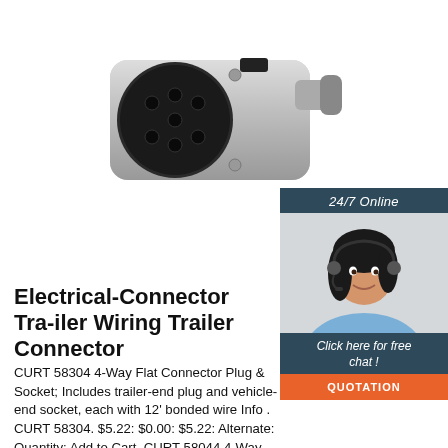[Figure (photo): Silver cylindrical trailer electrical connector plug with 7 black pin holes, viewed from the front, on white background]
[Figure (photo): Chat widget with '24/7 Online' banner, female customer service agent wearing headset, 'Click here for free chat!' text, and orange QUOTATION button]
Electrical-Connector Trailer Wiring Trailer Connector
CURT 58304 4-Way Flat Connector Plug & Socket; Includes trailer-end plug and vehicle-end socket, each with 12' bonded wire Info . CURT 58304. $5.22: $0.00: $5.22: Alternate: Quantity: Add to Cart. CURT 58044 4-Way Flat Connector Socket Kit Info . CURT 58044. $5.44: